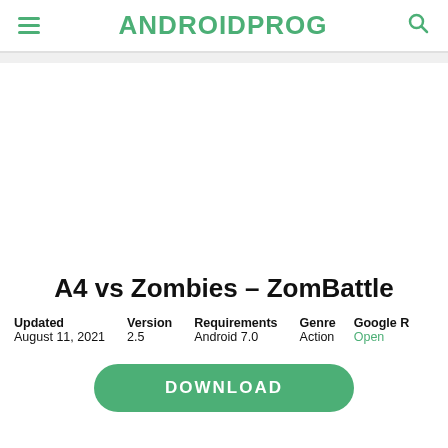ANDROIDPROG
A4 vs Zombies – ZomBattle
| Updated | Version | Requirements | Genre | Google R |
| --- | --- | --- | --- | --- |
| August 11, 2021 | 2.5 | Android 7.0 | Action | Open |
DOWNLOAD